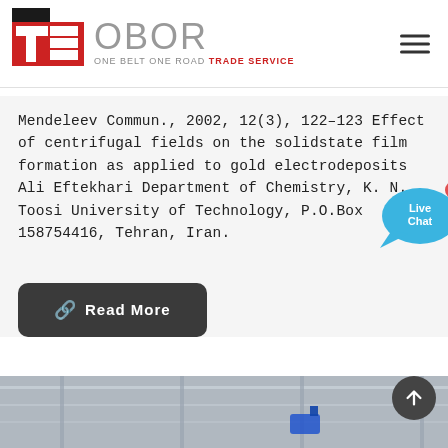[Figure (logo): OBOR (One Belt One Road Trade Service) logo with red and black TS symbol and grey OBOR text]
Mendeleev Commun., 2002, 12(3), 122–123 Effect of centrifugal fields on the solidstate film formation as applied to gold electrodeposits Ali Eftekhari Department of Chemistry, K. N. Toosi University of Technology, P.O.Box 158754416, Tehran, Iran.
[Figure (illustration): Live Chat speech bubble icon in blue]
Read More
[Figure (photo): Industrial facility interior photo showing overhead crane or rail system]